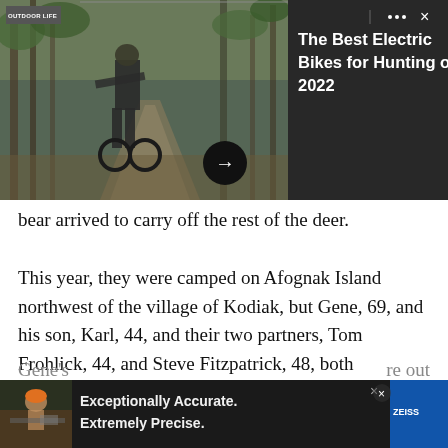[Figure (screenshot): Advertisement banner showing a hunter in camouflage on a dirt road in a forest, with 'Outdoor Life' logo overlay, three-dots menu, X close button, and a right panel with dark background showing text 'The Best Electric Bikes for Hunting of 2022', and a forward arrow button]
bear arrived to carry off the rest of the deer.
This year, they were camped on Afognak Island northwest of the village of Kodiak, but Gene, 69, and his son, Karl, 44, and their two partners, Tom Frohlick, 44, and Steve Fitzpatrick, 48, both employees of Gene's concrete contracting business, motored their skiff across the straits and down about 10 miles to the lower end of Raspberry Island to hunt Sitka blacktails
Gene's
[Figure (screenshot): Advertisement banner at bottom of page with dark background, showing a hunter with rifle scope image on left, text 'Exceptionally Accurate. Extremely Precise.' in center, Zeiss logo on right, with X close button]